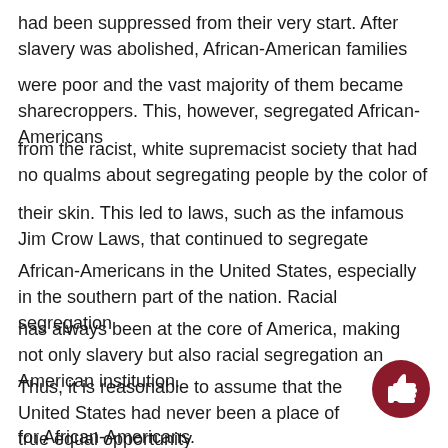had been suppressed from their very start. After slavery was abolished, African-American families
were poor and the vast majority of them became sharecroppers. This, however, segregated African-Americans
from the racist, white supremacist society that had no qualms about segregating people by the color of
their skin. This led to laws, such as the infamous Jim Crow Laws, that continued to segregate
African-Americans in the United States, especially in the southern part of the nation. Racial segregation
has always been at the core of America, making not only slavery but also racial segregation an American institution.
Thus, it is reasonable to assume that the United States had never been a place of true equal opportunity
for African-Americans.
[Figure (illustration): Dark red circle with a white thumbs-up icon, positioned bottom-right of the page.]